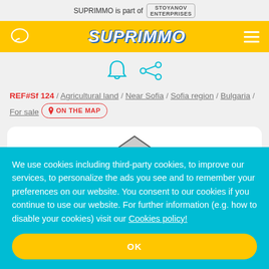SUPRIMMO is part of STOYANOV ENTERPRISES
[Figure (logo): SUPRIMMO yellow navigation bar with chat icon, SUPRIMMO logo, and hamburger menu]
[Figure (infographic): Bell notification icon and share icon in teal/cyan color]
REF#Sf 124 / Agricultural land / Near Sofia / Sofia region / Bulgaria / For sale ON THE MAP
[Figure (photo): Partial property image inside a white rounded card, partially obscured by cookie banner]
We use cookies including third-party cookies, to improve our services, to personalize the ads you see and to remember your preferences on our website. You consent to our cookies if you continue to use our website. For further information (e.g. how to disable your cookies) visit our Cookies policy!
OK